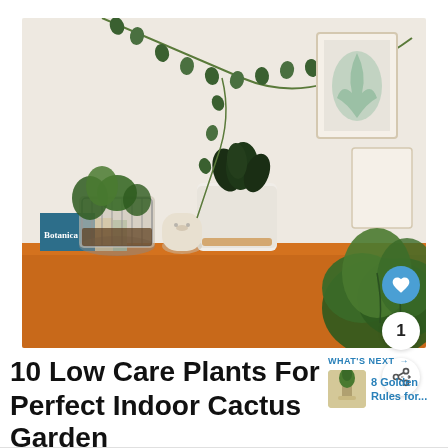[Figure (photo): Indoor plant arrangement on an orange wooden sideboard with a 'Botanica' book, multiple potted plants including a trailing vine on the wall, framed botanical prints, and large leafy plants in the foreground. Social interaction buttons (heart, count=1, share) overlaid on the right side.]
10 Low Care Plants For The Perfect Indoor Cactus Garden
WHAT'S NEXT → 8 Golden Rules for...